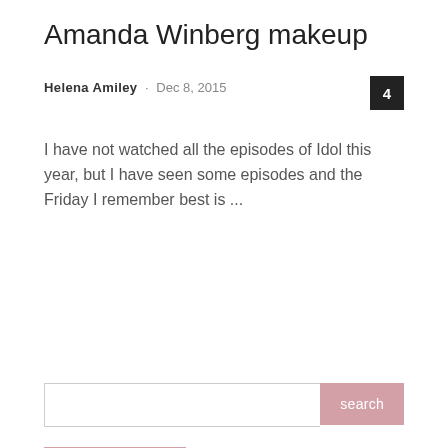Amanda Winberg makeup
Helena Amiley · Dec 8, 2015
I have not watched all the episodes of Idol this year, but I have seen some episodes and the Friday I remember best is ...
Read more
Upload more ▾
search
LATEST POSTS